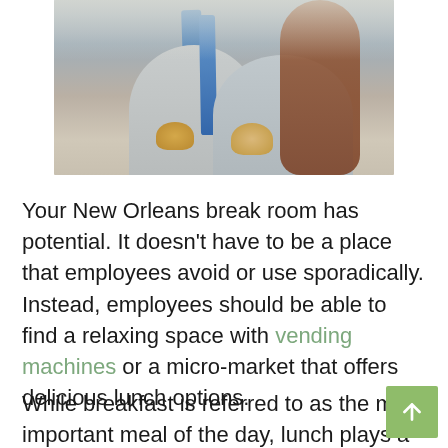[Figure (photo): Two people in business casual attire holding sandwiches or bread rolls, sitting together. The person on the left wears a gray blazer and blue tie, and the person on the right wears a light gray blazer with long auburn hair.]
Your New Orleans break room has potential. It doesn't have to be a place that employees avoid or use sporadically. Instead, employees should be able to find a relaxing space with vending machines or a micro-market that offers delicious lunch options.
While breakfast is referred to as the most important meal of the day, lunch plays a crucial role in